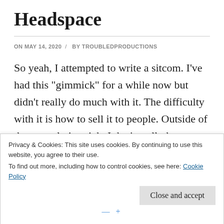Headspace
ON MAY 14, 2020  /  BY TROUBLEDPRODUCTIONS
So yeah, I attempted to write a sitcom. I’ve had this “gimmick” for a while now but didn’t really do much with it. The difficulty with it is how to sell it to people. Outside of the central gimmick, I don’t really know what separates it from others; the situations and
Privacy & Cookies: This site uses cookies. By continuing to use this website, you agree to their use.
To find out more, including how to control cookies, see here: Cookie Policy
Close and accept